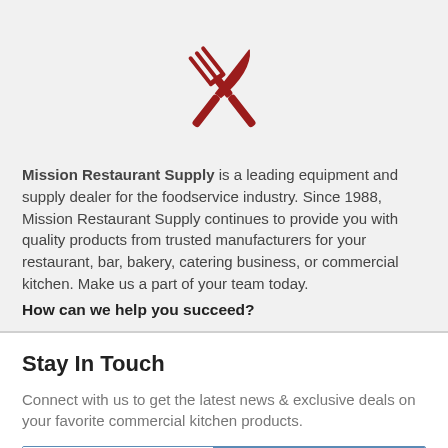[Figure (logo): Crossed fork and knife icon in dark red/crimson color, centered at top of page]
Mission Restaurant Supply is a leading equipment and supply dealer for the foodservice industry. Since 1988, Mission Restaurant Supply continues to provide you with quality products from trusted manufacturers for your restaurant, bar, bakery, catering business, or commercial kitchen. Make us a part of your team today.
How can we help you succeed?
Stay In Touch
Connect with us to get the latest news & exclusive deals on your favorite commercial kitchen products.
E-mail address
Leave Us A Message